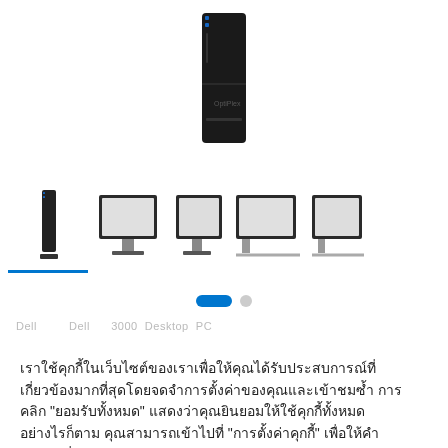[Figure (photo): A Dell small form factor PC (OptiPlex mini tower) shown upright in black, partially cropped at top of page]
[Figure (photo): Thumbnail strip showing 5 product images: small form factor PC upright, two Dell monitors with adjustable stands (front and side views), and two more Dell monitors (slightly cropped on right)]
เราใช้คุกกี้ในเว็บไซต์ของเราเพื่อให้คุณได้รับประสบการณ์ที่เกี่ยวข้องมากที่สุดโดยจดจำการตั้งค่าของคุณและเข้าชมซ้ำ การคลิก "ยอมรับทั้งหมด" แสดงว่าคุณยินยอมให้ใช้คุกกี้ทั้งหมดอย่างไรก็ตาม คุณสามารถเข้าไปที่ "การตั้งค่าคุกกี้" เพื่อให้คำยินยอมที่มีการควบคุม.
การตั้งค่าคุกกี้
ยอมรับทั้งหมด